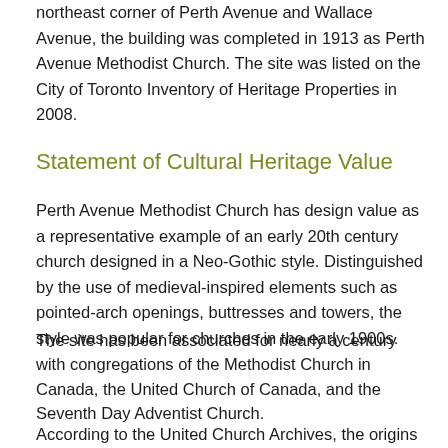northeast corner of Perth Avenue and Wallace Avenue, the building was completed in 1913 as Perth Avenue Methodist Church. The site was listed on the City of Toronto Inventory of Heritage Properties in 2008.
Statement of Cultural Heritage Value
Perth Avenue Methodist Church has design value as a representative example of an early 20th century church designed in a Neo-Gothic style. Distinguished by the use of medieval-inspired elements such as pointed-arch openings, buttresses and towers, the style was popular for churches in the early 1900s.
The site has been associated for nearly a century with congregations of the Methodist Church in Canada, the United Church of Canada, and the Seventh Day Adventist Church.
According to the United Church Archives, the origins of